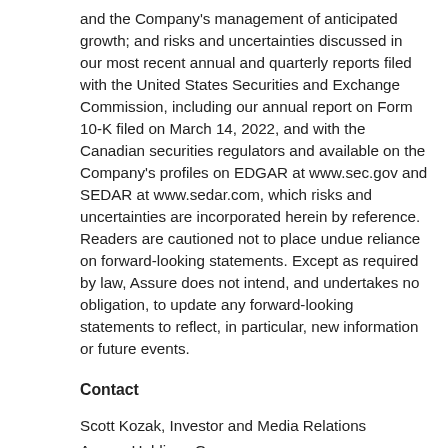and the Company's management of anticipated growth; and risks and uncertainties discussed in our most recent annual and quarterly reports filed with the United States Securities and Exchange Commission, including our annual report on Form 10-K filed on March 14, 2022, and with the Canadian securities regulators and available on the Company's profiles on EDGAR at www.sec.gov and SEDAR at www.sedar.com, which risks and uncertainties are incorporated herein by reference. Readers are cautioned not to place undue reliance on forward-looking statements. Except as required by law, Assure does not intend, and undertakes no obligation, to update any forward-looking statements to reflect, in particular, new information or future events.
Contact
Scott Kozak, Investor and Media Relations
Assure Holdings Corp.
1-720-287-3093
Scott.Kozak@assureiom.com